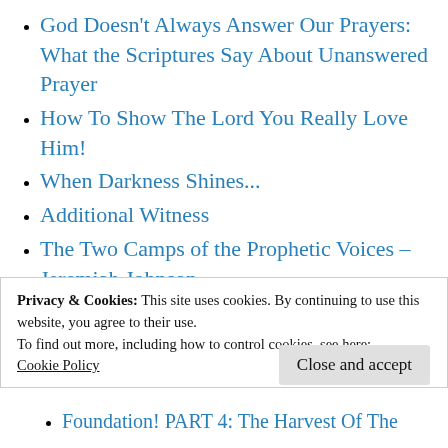God Doesn't Always Answer Our Prayers: What the Scriptures Say About Unanswered Prayer
How To Show The Lord You Really Love Him!
When Darkness Shines...
Additional Witness
The Two Camps of the Prophetic Voices – Jeremiah Johnson
The New Apostolic Reformation: What is it?
The Pre-Trib Rapture: A House Without A
Privacy & Cookies: This site uses cookies. By continuing to use this website, you agree to their use.
To find out more, including how to control cookies, see here: Cookie Policy
Close and accept
Foundation! PART 4: The Harvest Of The